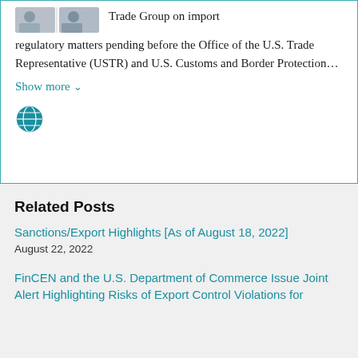[Figure (photo): Partial photo of two people in professional attire]
Trade Group on import regulatory matters pending before the Office of the U.S. Trade Representative (USTR) and U.S. Customs and Border Protection...
Show more ˅
[Figure (illustration): Globe/world icon in teal color]
Related Posts
Sanctions/Export Highlights [As of August 18, 2022]
August 22, 2022
FinCEN and the U.S. Department of Commerce Issue Joint Alert Highlighting Risks of Export Control Violations for